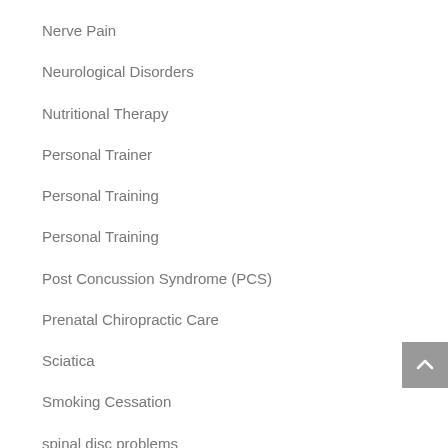Nerve Pain
Neurological Disorders
Nutritional Therapy
Personal Trainer
Personal Training
Personal Training
Post Concussion Syndrome (PCS)
Prenatal Chiropractic Care
Sciatica
Smoking Cessation
spinal disc problems
Sports Chiropractic
sports chiropractic for kids
Sports Chiropractic for Kids